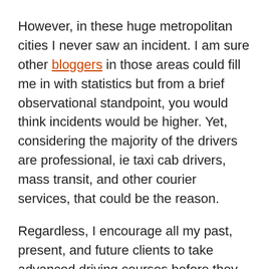However, in these huge metropolitan cities I never saw an incident. I am sure other bloggers in those areas could fill me in with statistics but from a brief observational standpoint, you would think incidents would be higher. Yet, considering the majority of the drivers are professional, ie taxi cab drivers, mass transit, and other courier services, that could be the reason.
Regardless, I encourage all my past, present, and future clients to take advanced driving courses before they head out of the state or out of country with the intentions on driving;
The 80 year old, driving the Cadillac in the left lane may be pummeled;
I can't even think about the young, teenager that